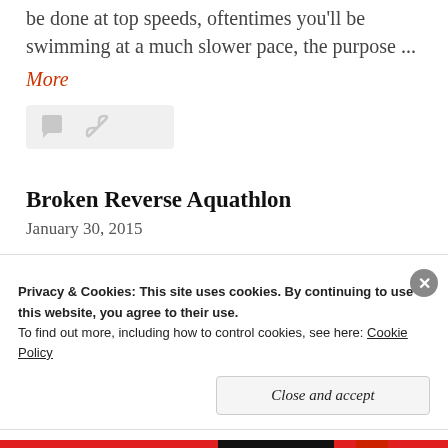be done at top speeds, oftentimes you'll be swimming at a much slower pace, the purpose ...
More
[Figure (other): Icon bar with comment bubble and chain/link icons on a light gray background]
Broken Reverse Aquathlon
January 30, 2015
This past Saturday I raced the 10K at the Securian Winter Run in downtown St. Paul. As it's about time
Privacy & Cookies: This site uses cookies. By continuing to use this website, you agree to their use.
To find out more, including how to control cookies, see here: Cookie Policy
Close and accept